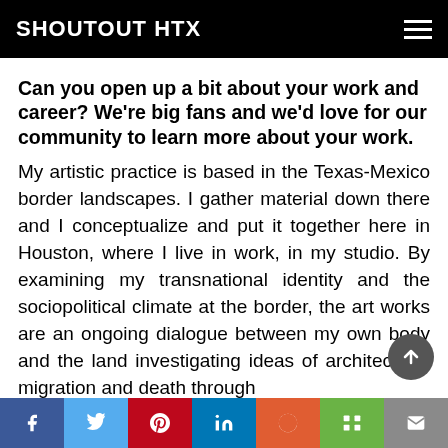SHOUTOUT HTX
Can you open up a bit about your work and career? We're big fans and we'd love for our community to learn more about your work.
My artistic practice is based in the Texas-Mexico border landscapes. I gather material down there and I conceptualize and put it together here in Houston, where I live in work, in my studio. By examining my transnational identity and the sociopolitical climate at the border, the art works are an ongoing dialogue between my own body and the land investigating ideas of architecture, migration and death through conducting location-driven research, bringing a